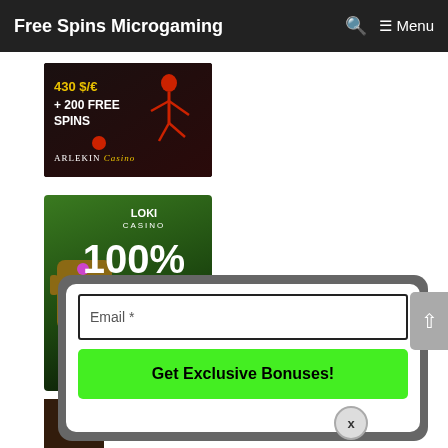Free Spins Microgaming  Menu
[Figure (illustration): Arlekin Casino banner ad showing '430 $/€ + 200 FREE SPINS' with a stylized acrobat figure on dark background]
[Figure (illustration): Loki Casino banner ad showing a Tiki mask, '100% + 100 FREE SPINS ON YOUR FIRST DEPOSIT' with a GET BONUS button on green background]
[Figure (screenshot): Email signup modal popup with 'Email *' input field and 'Get Exclusive Bonuses!' green button, with an X close button]